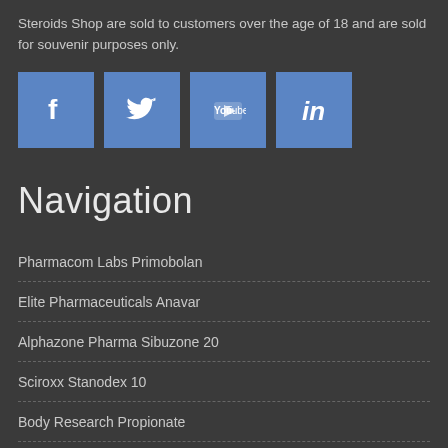Steroids Shop are sold to customers over the age of 18 and are sold for souvenir purposes only.
[Figure (illustration): Four social media icons: Facebook, Twitter, YouTube, LinkedIn on blue square backgrounds]
Navigation
Pharmacom Labs Primobolan
Elite Pharmaceuticals Anavar
Alphazone Pharma Sibuzone 20
Sciroxx Stanodex 10
Body Research Propionate
La Pharma Deca